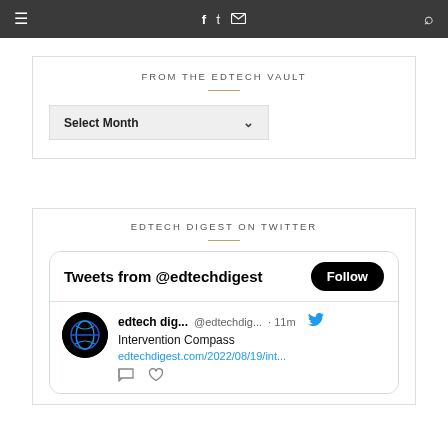Navigation bar with hamburger menu, social icons (Facebook, Twitter, Mail), and search icon
FROM THE EDTECH VAULT
Select Month
EDTECH DIGEST ON TWITTER
[Figure (screenshot): Twitter widget showing 'Tweets from @edtechdigest' with a Follow button, and a tweet from edtech dig... @edtechdig... · 11m about Intervention Compass with link edtechdigest.com/2022/08/19/int...]